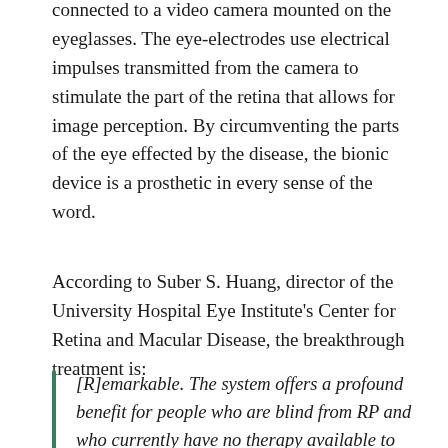connected to a video camera mounted on the eyeglasses. The eye-electrodes use electrical impulses transmitted from the camera to stimulate the part of the retina that allows for image perception. By circumventing the parts of the eye effected by the disease, the bionic device is a prosthetic in every sense of the word.
According to Suber S. Huang, director of the University Hospital Eye Institute's Center for Retina and Macular Disease, the breakthrough treatment is:
[R]emarkable. The system offers a profound benefit for people who are blind from RP and who currently have no therapy available to them. Argus II allows patients to reclaim their